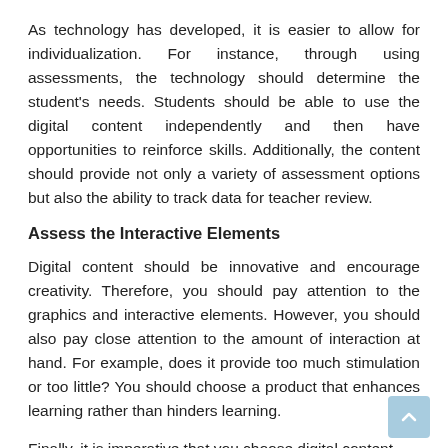As technology has developed, it is easier to allow for individualization. For instance, through using assessments, the technology should determine the student's needs. Students should be able to use the digital content independently and then have opportunities to reinforce skills. Additionally, the content should provide not only a variety of assessment options but also the ability to track data for teacher review.
Assess the Interactive Elements
Digital content should be innovative and encourage creativity. Therefore, you should pay attention to the graphics and interactive elements. However, you should also pay close attention to the amount of interaction at hand. For example, does it provide too much stimulation or too little? You should choose a product that enhances learning rather than hinders learning.
Finally, it is imperative that you choose digital content